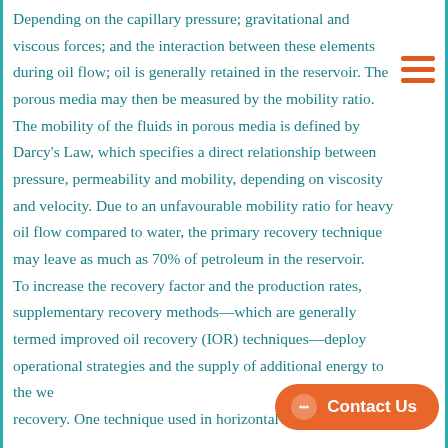Depending on the capillary pressure; gravitational and viscous forces; and the interaction between these elements during oil flow; oil is generally retained in the reservoir. The porous media may then be measured by the mobility ratio. The mobility of the fluids in porous media is defined by Darcy's Law, which specifies a direct relationship between pressure, permeability and mobility, depending on viscosity and velocity. Due to an unfavourable mobility ratio for heavy oil flow compared to water, the primary recovery technique may leave as much as 70% of petroleum in the reservoir. To increase the recovery factor and the production rates, supplementary recovery methods—which are generally termed improved oil recovery (IOR) techniques—deploy operational strategies and the supply of additional energy to the well for recovery. One technique used in horizontal heavy oil